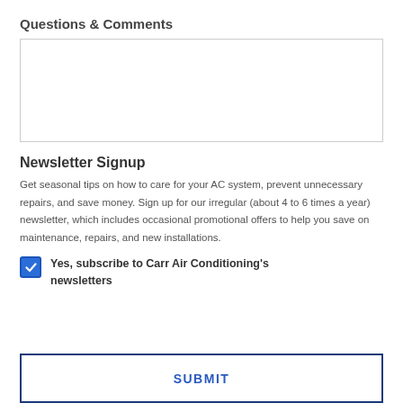Questions & Comments
[Figure (other): Empty text area input box for questions and comments]
Newsletter Signup
Get seasonal tips on how to care for your AC system, prevent unnecessary repairs, and save money. Sign up for our irregular (about 4 to 6 times a year) newsletter, which includes occasional promotional offers to help you save on maintenance, repairs, and new installations.
Yes, subscribe to Carr Air Conditioning's newsletters
SUBMIT